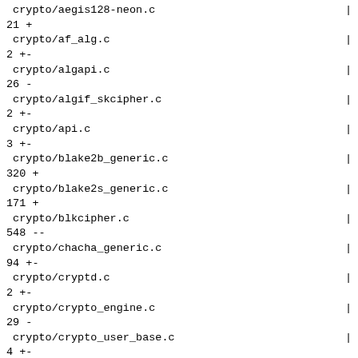crypto/aegis128-neon.c                                                    |
21 +
 crypto/af_alg.c                                                            |
2 +-
 crypto/algapi.c                                                            |
26 -
 crypto/algif_skcipher.c                                                    |
2 +-
 crypto/api.c                                                               |
3 +-
 crypto/blake2b_generic.c                                                   |
320 +
 crypto/blake2s_generic.c                                                   |
171 +
 crypto/blkcipher.c                                                         |
548 --
 crypto/chacha_generic.c                                                    |
94 +-
 crypto/cryptd.c                                                            |
2 +-
 crypto/crypto_engine.c                                                     |
29 -
 crypto/crypto_user_base.c                                                  |
4 +-
 crypto/crypto_user_stat.c                                                  |
8 +-
 crypto/curve25519-generic.c                                                |
90 +
 crypto/ecc.c                                                               |
5 +-